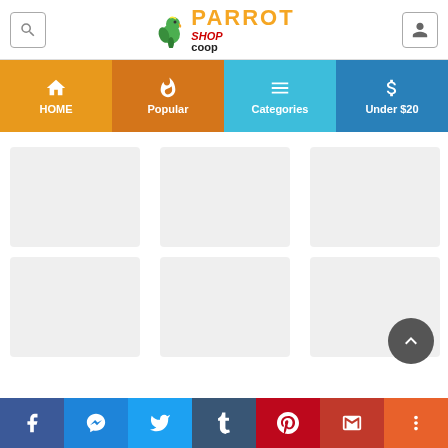[Figure (screenshot): ParrotShop Coop website header with logo, search icon, and user icon]
[Figure (screenshot): Navigation bar with HOME, Popular, Categories, and Under $20 tabs]
[Figure (screenshot): Main content area with blurred product listings]
[Figure (screenshot): Social sharing footer bar with Facebook, Messenger, Twitter, Tumblr, Pinterest, Gmail, and More icons]